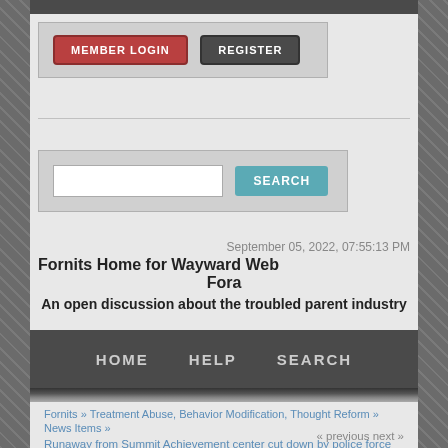[Figure (screenshot): Website header with Member Login and Register buttons]
[Figure (screenshot): Search bar with text input and Search button]
September 05, 2022, 07:55:13 PM
Fornits Home for Wayward Web Fora
An open discussion about the troubled parent industry
HOME   HELP   SEARCH
Fornits » Treatment Abuse, Behavior Modification, Thought Reform » News Items »
Runaway from Summit Achievement center cut down by police force
« previous next »